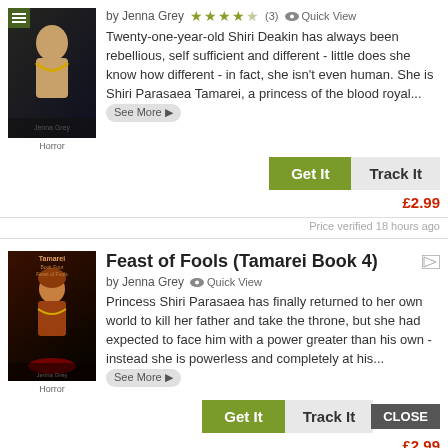by Jenna Grey  ★★★½ (3)  Quick View
Twenty-one-year-old Shiri Deakin has always been rebellious, self sufficient and different - little does she know how different - in fact, she isn't even human. She is Shiri Parasaea Tamarei, a princess of the blood royal... See More
Get It   Track It
£2.99
Price verified 18 hours ago
Feast of Fools (Tamarei Book 4)
by Jenna Grey   Quick View
Princess Shiri Parasaea has finally returned to her own world to kill her father and take the throne, but she had expected to face him with a power greater than his own - instead she is powerless and completely at his... See More
Get It   Track It   CLOSE
£2.99
Price verified 2 hours ago